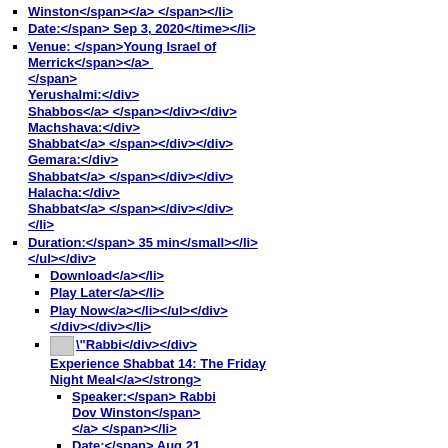Winston</span></a> </span></li>
Date:</span> Sep 3, 2020</time></li>
Venue: </span>Young Israel of Merrick</span></a> </span> Yerushalmi:</div> Shabbos</a> </span></div></div> Machshava:</div> Shabbat</a> </span></div></div> Gemara:</div> Shabbat</a> </span></div></div> Halacha:</div> Shabbat</a> </span></div></div> </li>
Duration:</span> 35 min</small></li> </ul></div>
Download</a></li>
Play Later</a></li>
Play Now</a></li></ul></div></div></div></li>
[image] "Rabbi</div></div> Experience Shabbat 14: The Friday Night Meal</a></strong>
Speaker:</span> Rabbi Dov Winston</span> </a> </span></li>
Date:</span> Aug 21, 2020</time></li>
Venue: </span>Young Israel of Merrick</span> </a> </span> Holidays:</div> Shabbos</a> </span></div></div> Yerushalmi:</div> Shabbos</a> </span></div></div> Gemara:</div> Shabbat</a> </span></div></div> Halacha:</div>...</li>